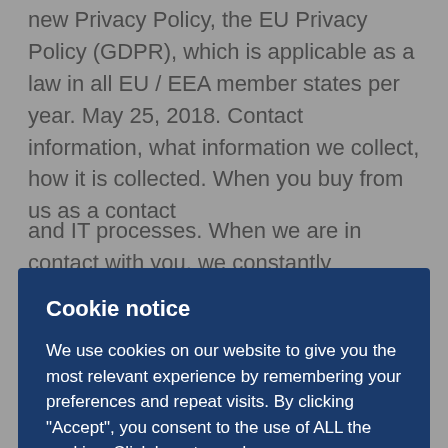new Privacy Policy, the EU Privacy Policy (GDPR), which is applicable as a law in all EU / EEA member states per year. May 25, 2018. Contact information, what information we collect, how it is collected. When you buy from us as a contact
Cookie notice
We use cookies on our website to give you the most relevant experience by remembering your preferences and repeat visits. By clicking "Accept", you consent to the use of ALL the cookies. Click here to read more
and IT processes. When we are in contact with you, we constantly document all communication. The dialogue with you as our customer is done via telephone, mail, chat, letters and / or physical contact, in addition to via digital media.